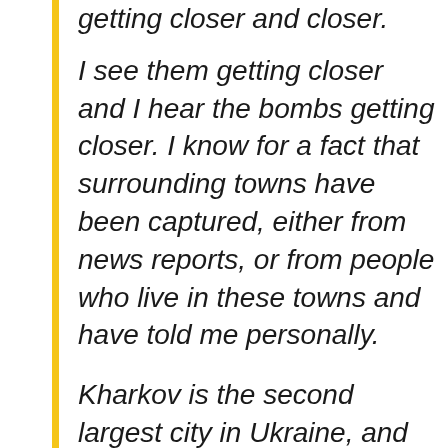getting closer and closer.
I see them getting closer and I hear the bombs getting closer. I know for a fact that surrounding towns have been captured, either from news reports, or from people who live in these towns and have told me personally.
Kharkov is the second largest city in Ukraine, and the third most important target, the first being Kyiv and the second being the main Ukraine army in the east (some 60,000 man strong).